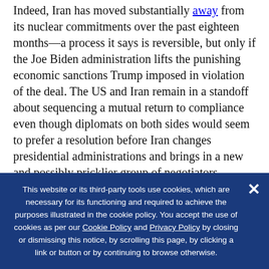Indeed, Iran has moved substantially away from its nuclear commitments over the past eighteen months—a process it says is reversible, but only if the Joe Biden administration lifts the punishing economic sanctions Trump imposed in violation of the deal. The US and Iran remain in a standoff about sequencing a mutual return to compliance even though diplomats on both sides would seem to prefer a resolution before Iran changes presidential administrations and brings in a new and possibly pricklier group of negotiators.
The son of a famous ayatollah and the brother of a
This website or its third-party tools use cookies, which are necessary for its functioning and required to achieve the purposes illustrated in the cookie policy. You accept the use of cookies as per our Cookie Policy and Privacy Policy by closing or dismissing this notice, by scrolling this page, by clicking a link or button or by continuing to browse otherwise.